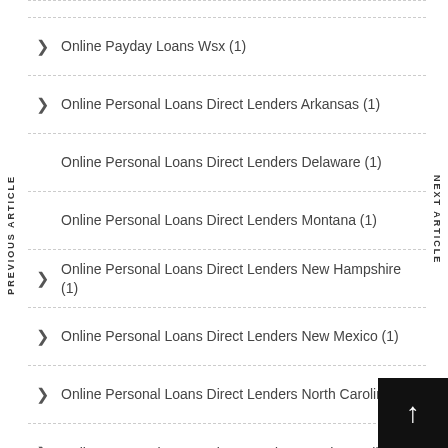Online Payday Loans Wsx (1)
Online Personal Loans Direct Lenders Arkansas (1)
Online Personal Loans Direct Lenders Delaware (1)
Online Personal Loans Direct Lenders Montana (1)
Online Personal Loans Direct Lenders New Hampshire (1)
Online Personal Loans Direct Lenders New Mexico (1)
Online Personal Loans Direct Lenders North Carolina (1)
Online Personal Loans Direct Lenders South Carolina (1)